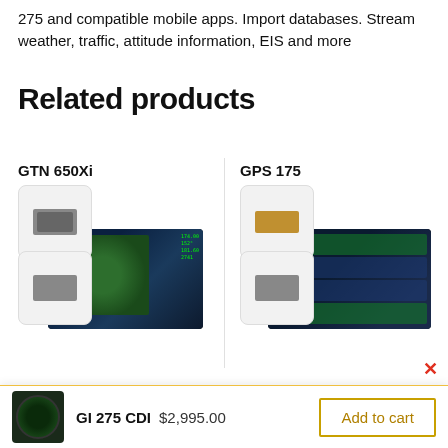275 and compatible mobile apps. Import databases. Stream weather, traffic, attitude information, EIS and more
Related products
GTN 650Xi
[Figure (photo): GTN 650Xi aviation GPS navigator product images showing thumbnail and main device screen with map display]
GPS 175
[Figure (photo): GPS 175 aviation GPS navigator product images showing thumbnail and main device screen with flight data]
GI 275 CDI  $2,995.00
Add to cart